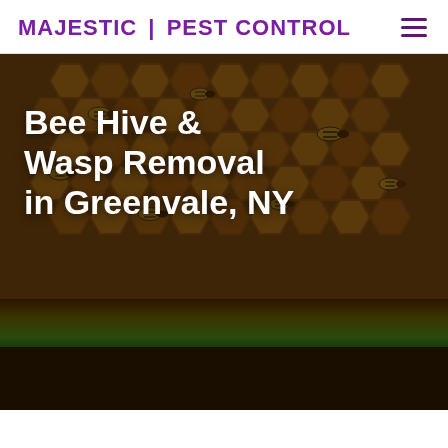MAJESTIC | PEST CONTROL
[Figure (photo): Close-up photo of bees on a honeycomb, darkened with overlay, serving as hero background image for a pest control service page]
Bee Hive & Wasp Removal in Greenvale, NY